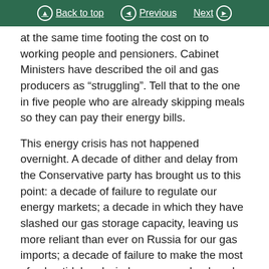Back to top | Previous | Next
at the same time footing the cost on to working people and pensioners. Cabinet Ministers have described the oil and gas producers as “struggling”. Tell that to the one in five people who are already skipping meals so they can pay their energy bills.
This energy crisis has not happened overnight. A decade of dither and delay from the Conservative party has brought us to this point: a decade of failure to regulate our energy markets; a decade in which they have slashed our gas storage capacity, leaving us more reliant than ever on Russia for our gas imports; a decade of failure to make the most of solar, tidal and wind energy; and a decade of stalled progress on insulating our homes to keep bills low, not just for one year but into the future. It has been